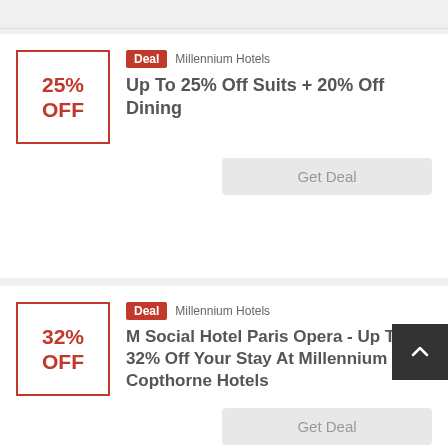[Figure (other): Gray bar at top right corner, partially visible]
25% OFF
Deal  Millennium Hotels
Up To 25% Off Suits + 20% Off Dining
Get Deal
32% OFF
Deal  Millennium Hotels
M Social Hotel Paris Opera - Up To 32% Off Your Stay At Millennium & Copthorne Hotels
Get Deal